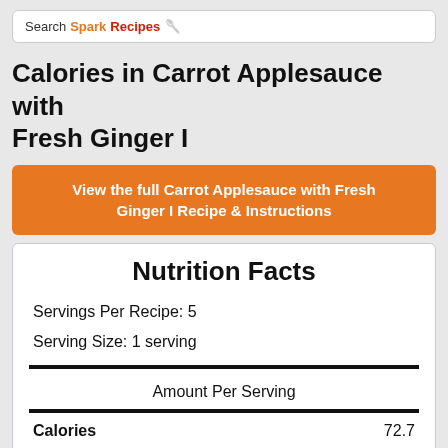Search SparkRecipes
Calories in Carrot Applesauce with Fresh Ginger I
View the full Carrot Applesauce with Fresh Ginger I Recipe & Instructions
| Nutrition Facts |  |  |
| --- | --- | --- |
| Servings Per Recipe: 5 |  |  |
| Serving Size: 1 serving |  |  |
| Amount Per Serving |  |  |
| Calories |  | 72.7 |
| Total Fat |  | 0.3 g |